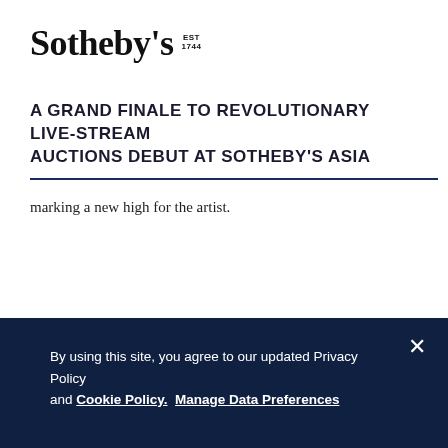Sotheby's EST 1744
A GRAND FINALE TO REVOLUTIONARY LIVE-STREAM AUCTIONS DEBUT AT SOTHEBY'S ASIA
marking a new high for the artist.
By using this site, you agree to our updated Privacy Policy and Cookie Policy. Manage Data Preferences